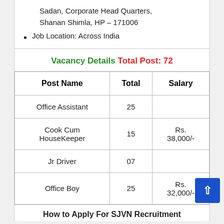Sadan, Corporate Head Quarters, Shanan Shimla, HP – 171006
Job Location: Across India
Vacancy Details Total Post: 72
| Post Name | Total | Salary |
| --- | --- | --- |
| Office Assistant | 25 |  |
| Cook Cum HouseKeeper | 15 | Rs. 38,000/- |
| Jr Driver | 07 |  |
| Office Boy | 25 | Rs. 32,000/- |
How to Apply For SJVN Recruitment